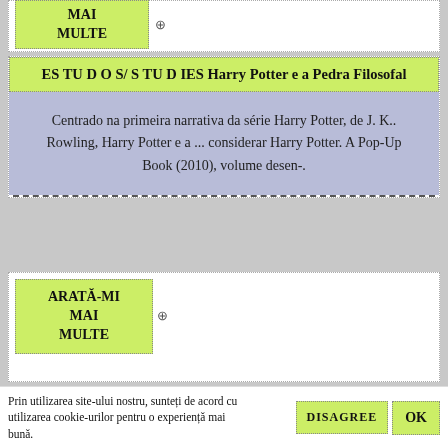[Figure (screenshot): Top card with green button labeled ARATĂ-MI MAI MULTE]
ES TU D O S/ S TU D IES Harry Potter e a Pedra Filosofal
Centrado na primeira narrativa da série Harry Potter, de J. K.. Rowling, Harry Potter e a ... considerar Harry Potter. A Pop-Up Book (2010), volume desen-.
[Figure (screenshot): Card with green button ARATĂ-MI MAI MULTE and eye icon]
Chapter 1 The Magic of Harry Potter
Prin utilizarea site-ului nostru, sunteți de acord cu utilizarea cookie-urilor pentru o experiență mai bună.
DISAGREE  OK